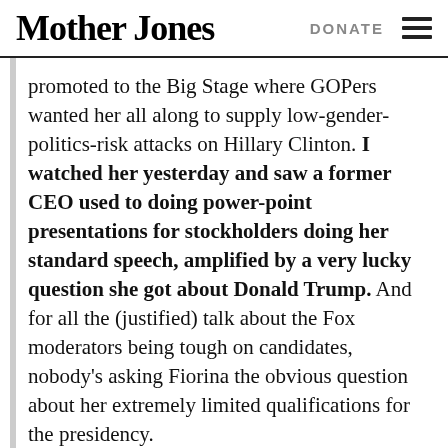Mother Jones   DONATE
promoted to the Big Stage where GOPers wanted her all along to supply low-gender-politics-risk attacks on Hillary Clinton. I watched her yesterday and saw a former CEO used to doing power-point presentations for stockholders doing her standard speech, amplified by a very lucky question she got about Donald Trump. And for all the (justified) talk about the Fox moderators being tough on candidates, nobody's asking Fiorina the obvious question about her extremely limited qualifications for the presidency.

....I'm also a bit mystified by all the wild